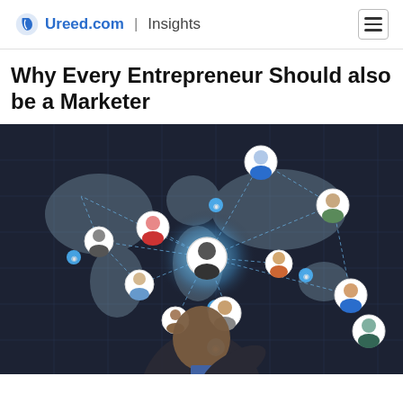Ureed.com | Insights
Why Every Entrepreneur Should also be a Marketer
[Figure (photo): A businessman pointing at a glowing digital world map network with avatar icons connected by dashed lines, representing global connectivity and social networking. Dark tech circuit background.]